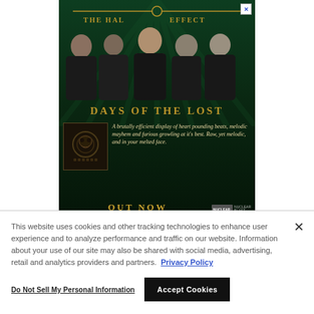[Figure (illustration): Advertisement for The Halo Effect band album 'Days of the Lost' on Nuclear Blast. Shows dark green background with five band members, decorative gold lettering for band and album name, album cover art thumbnail, review quote, and 'OUT NOW' text.]
This website uses cookies and other tracking technologies to enhance user experience and to analyze performance and traffic on our website. Information about your use of our site may also be shared with social media, advertising, retail and analytics providers and partners.  Privacy Policy
Do Not Sell My Personal Information
Accept Cookies